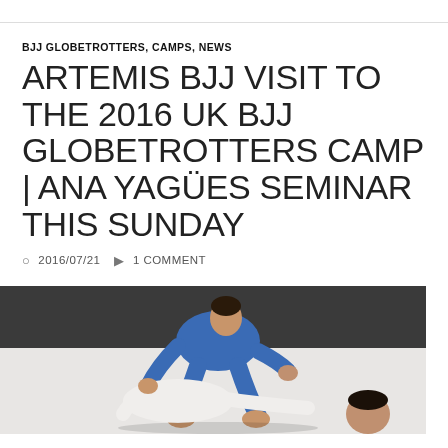BJJ GLOBETROTTERS, CAMPS, NEWS
ARTEMIS BJJ VISIT TO THE 2016 UK BJJ GLOBETROTTERS CAMP | ANA YAGÜES SEMINAR THIS SUNDAY
2016/07/21  1 COMMENT
[Figure (photo): Two people practicing BJJ/Brazilian jiu-jitsu on a mat; one person in a blue gi is on top applying a technique while another person is below.]